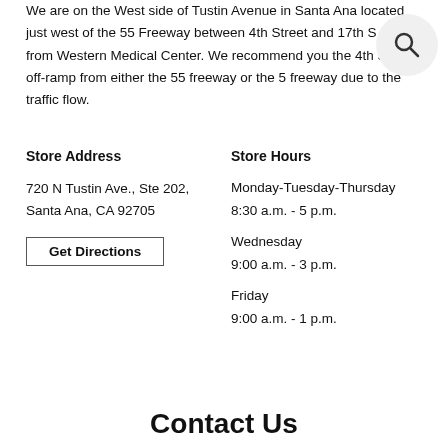We are on the West side of Tustin Avenue in Santa Ana located just west of the 55 Freeway between 4th Street and 17th S across from Western Medical Center. We recommend you the 4th Street off-ramp from either the 55 freeway or the 5 freeway due to the traffic flow.
Store Address
720 N Tustin Ave., Ste 202, Santa Ana, CA 92705
Get Directions
Store Hours
Monday-Tuesday-Thursday
8:30 a.m. - 5 p.m.
Wednesday
9:00 a.m. - 3 p.m.
Friday
9:00 a.m. - 1 p.m.
Contact Us